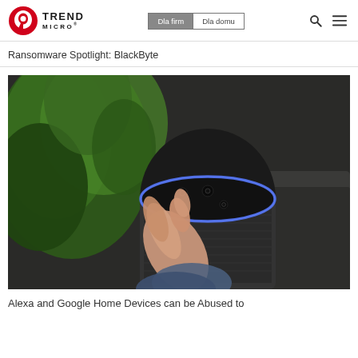Trend Micro - Dla firm | Dla domu
Ransomware Spotlight: BlackByte
[Figure (photo): A hand pressing the top of an Amazon Echo (Alexa) smart speaker with a glowing blue ring, surrounded by green plant leaves in the background.]
Alexa and Google Home Devices can be Abused to